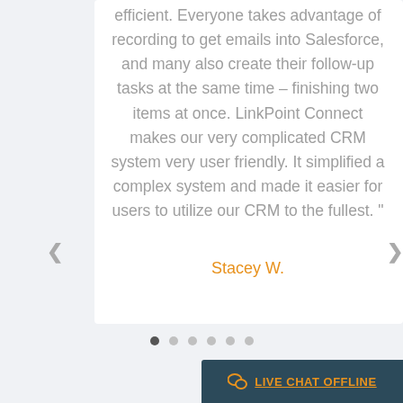Our sales teams are clearly more efficient. Everyone takes advantage of recording to get emails into Salesforce, and many also create their follow-up tasks at the same time – finishing two items at once. LinkPoint Connect makes our very complicated CRM system very user friendly. It simplified a complex system and made it easier for users to utilize our CRM to the fullest. "
Stacey W.